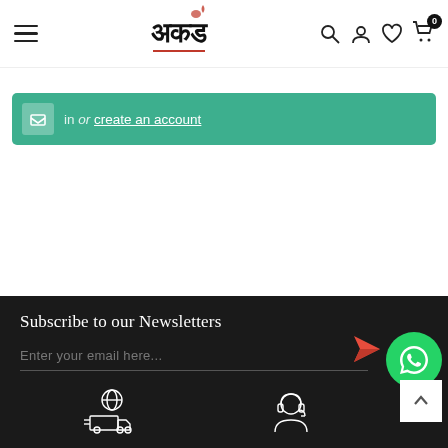अकड — site header with hamburger menu, logo, search, account, wishlist, and cart icons
in or create an account
Subscribe to our Newsletters
Enter your email here...
[Figure (illustration): Green circle WhatsApp button icon and red paper-plane send arrow]
[Figure (illustration): White outline delivery truck with globe icon]
[Figure (illustration): White outline customer support headset icon]
[Figure (illustration): White scroll-to-top arrow button]